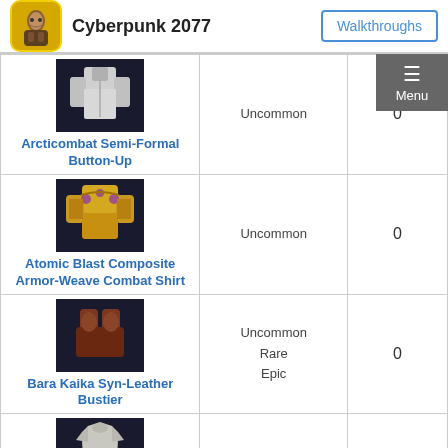Cyberpunk 2077 | Walkthroughs
| Item | Rarity | Count |
| --- | --- | --- |
| Arcticombat Semi-Formal Button-Up | Uncommon | 0 |
| Atomic Blast Composite Armor-Weave Combat Shirt | Uncommon | 0 |
| Bara Kaika Syn-Leather Bustier | Uncommon
Rare
Epic | 0 |
| Basic Tank Top | Uncommon | 1 |
| (partial row) |  |  |